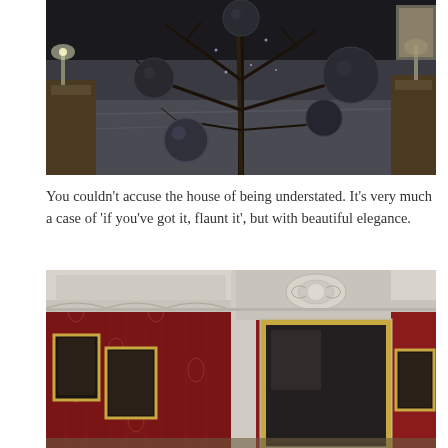[Figure (photo): Dark gothic-style bedroom with a bare black tree decorated with large dark ornament balls placed on a grey/charcoal bed, with nightstands on either side]
You couldn't accuse the house of being understated.  It's very much a case of 'if you've got it, flaunt it', but with beautiful elegance.
[Figure (photo): Ornate room interior with red damask wallpaper, elaborate white plaster ceiling cornice, gold-framed paintings hung on the walls, and decorative carved panels above a doorway]